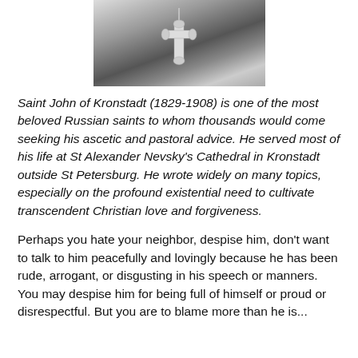[Figure (photo): Black and white photo of Saint John of Kronstadt wearing a cross necklace]
Saint John of Kronstadt (1829-1908) is one of the most beloved Russian saints to whom thousands would come seeking his ascetic and pastoral advice. He served most of his life at St Alexander Nevsky's Cathedral in Kronstadt outside St Petersburg. He wrote widely on many topics, especially on the profound existential need to cultivate transcendent Christian love and forgiveness.
Perhaps you hate your neighbor, despise him, don't want to talk to him peacefully and lovingly because he has been rude, arrogant, or disgusting in his speech or manners. You may despise him for being full of himself or proud or disrespectful. But you are to blame more than he is...